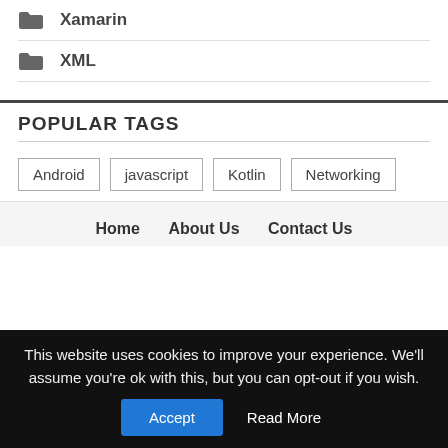Xamarin
XML
POPULAR TAGS
Android
javascript
Kotlin
Networking
Home   About Us   Contact Us
This website uses cookies to improve your experience. We'll assume you're ok with this, but you can opt-out if you wish. Accept  Read More